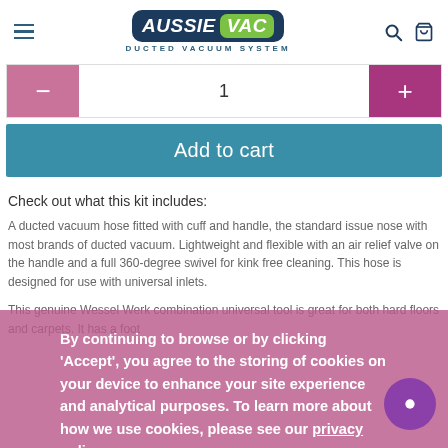[Figure (logo): Aussie Vac Ducted Vacuum System logo with hamburger menu, search icon and bag icon]
[Figure (other): Quantity selector with minus button (pink), number 1, and plus button (dark pink)]
Add to cart
Check out what this kit includes:
A ducted vacuum hose fitted with cuff and handle, the standard issue nose with most brands of ducted vacuum. Lightweight and flexible with an air relief valve on the handle and a full 360-degree swivel for kink free cleaning. This hose is designed for use with universal inlets.
This genuine Wessel Werk combination universal tool is great for both hard floors and carpets. It has a foot
By continuing to browse or by clicking 'Accept', you agree to the storing of cookies on your device to enhance your site experience and analytical purposes. To learn more about how we use cookies, please see our privacy policy
Accept